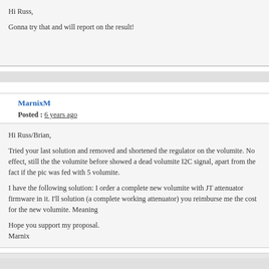Hi Russ,

Gonna try that and will report on the result!
MarnixM
Posted : 6 years ago
Hi Russ/Brian,

Tried your last solution and removed and shortened the regulator on the volumite. No effect, still the the volumite before showed a dead volumite I2C signal, apart from the fact if the pic was fed with 5 volumite.

I have the following solution: I order a complete new volumite with JT attenuator firmware in it. I'll solution (a complete working attenuator) you reimburse me the cost for the new volumite. Meaning

Hope you support my proposal.
Marnix